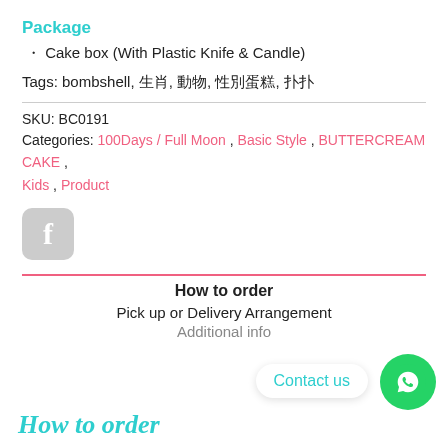Package
· Cake box (With Plastic Knife & Candle)
Tags: bombshell, 生肖, 動物, 性別蛋糕, 扑扑
SKU: BC0191
Categories: 100Days / Full Moon, Basic Style, BUTTERCREAM CAKE, Kids, Product
[Figure (logo): Facebook share icon - rounded square grey button with white f letter]
How to order
Pick up or Delivery Arrangement
Additional info
Contact us
How to order